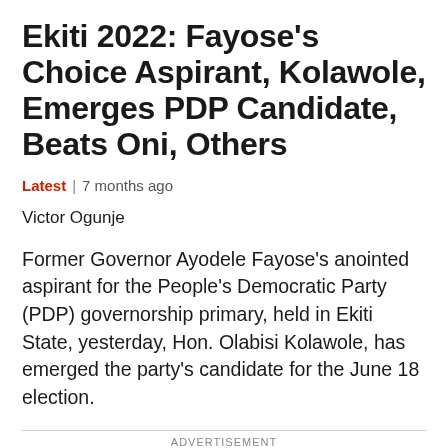Ekiti 2022: Fayose's Choice Aspirant, Kolawole, Emerges PDP Candidate, Beats Oni, Others
Latest | 7 months ago
Victor Ogunje
Former Governor Ayodele Fayose's anointed aspirant for the People's Democratic Party (PDP) governorship primary, held in Ekiti State, yesterday, Hon. Olabisi Kolawole, has emerged the party's candidate for the June 18 election.
ADVERTISEMENT